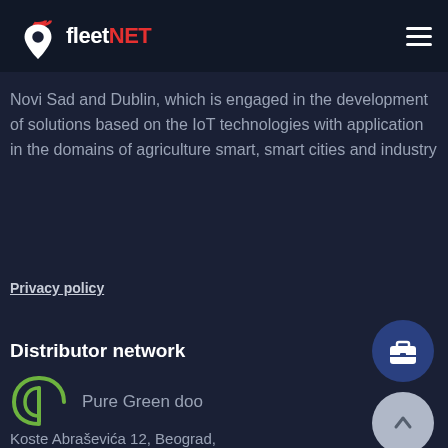fleetNET
Novi Sad and Dublin, which is engaged in the development of solutions based on the IoT technologies with application in the domains of agriculture smart, smart cities and industry
Privacy policy
Distributor network
[Figure (logo): Pure Green doo logo — stylized letter P/C in green]
Pure Green doo
Koste Abraševića 12, Beograd,